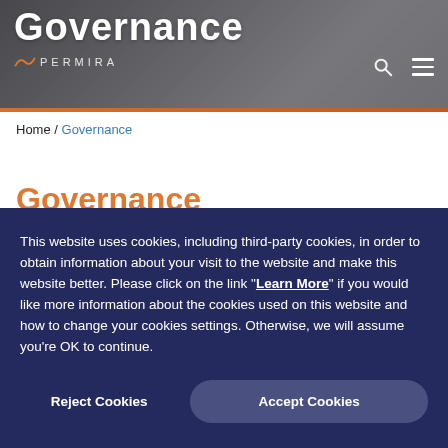[Figure (screenshot): Permira Governance page header with large white 'Governance' title text over a dark blurred background photo, Permira logo with orange icon on the left, search and hamburger menu icons on the right, and an orange horizontal divider line below.]
Home / Governance
Governance
This website uses cookies, including third-party cookies, in order to obtain information about your visit to the website and make this website better. Please click on the link "Learn More" if you would like more information about the cookies used on this website and how to change your cookies settings. Otherwise, we will assume you're OK to continue.
Reject Cookies
Accept Cookies